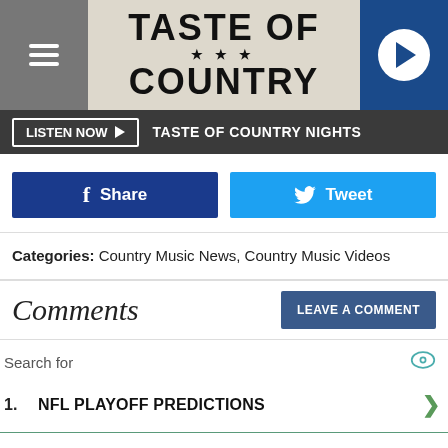TASTE OF COUNTRY
LISTEN NOW ▶  TASTE OF COUNTRY NIGHTS
f Share   Tweet
Categories: Country Music News, Country Music Videos
Comments
Search for
1. NFL PLAYOFF PREDICTIONS
2. NFL AMERICA'S GAME
3. NFL TEAM SCHEDULE
4. NFL PLAYOFF TICKETS